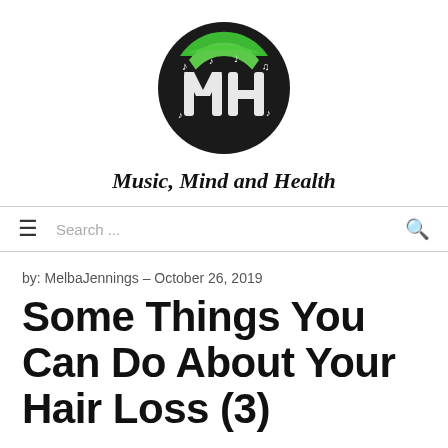[Figure (logo): Music, Mind and Health circular logo with black and green design featuring stylized 'MH' letters and music notes]
Music, Mind and Health
Search ...
by: MelbaJennings – October 26, 2019
Some Things You Can Do About Your Hair Loss (3)